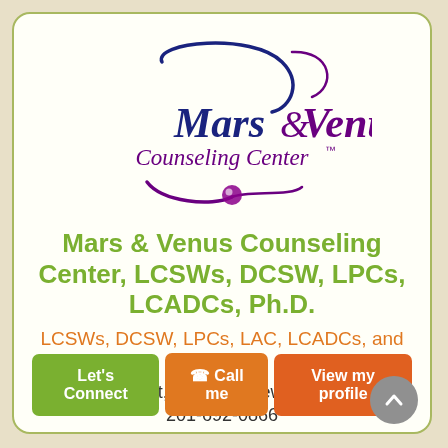[Figure (logo): Mars & Venus Counseling Center logo with decorative swirls in navy blue and purple, with 'Mars & Venus Counseling Center TM' text]
Mars & Venus Counseling Center, LCSWs, DCSW, LPCs, LCADCs, Ph.D.
LCSWs, DCSW, LPCs, LAC, LCADCs, and Ph.D.
500 Lake St, Ramsey, New Jersey 07446 | 201-692-0866